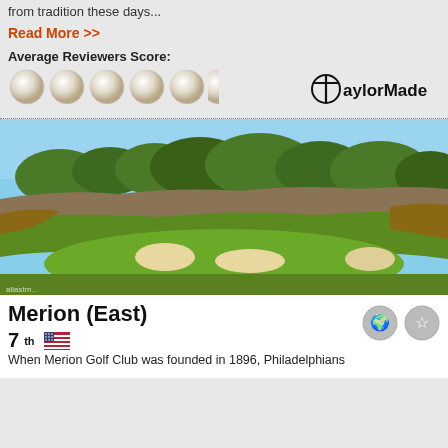from tradition these days...
Read More >>
Average Reviewers Score:
[Figure (illustration): Six golf ball icons representing reviewer score rating, followed by TaylorMade logo]
[Figure (photo): Aerial view of Merion (East) golf course showing green fairway, sand bunkers, rough grass areas and trees under blue sky]
Merion (East)
7th [US flag icon]
When Merion Golf Club was founded in 1896, Philadelphians